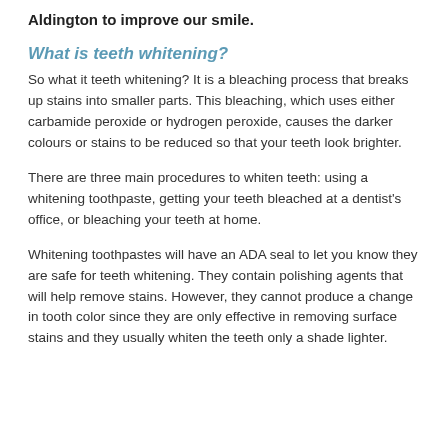Aldington to improve our smile.
What is teeth whitening?
So what it teeth whitening? It is a bleaching process that breaks up stains into smaller parts. This bleaching, which uses either carbamide peroxide or hydrogen peroxide, causes the darker colours or stains to be reduced so that your teeth look brighter.
There are three main procedures to whiten teeth: using a whitening toothpaste, getting your teeth bleached at a dentist's office, or bleaching your teeth at home.
Whitening toothpastes will have an ADA seal to let you know they are safe for teeth whitening. They contain polishing agents that will help remove stains. However, they cannot produce a change in tooth color since they are only effective in removing surface stains and they usually whiten the teeth only a shade lighter.